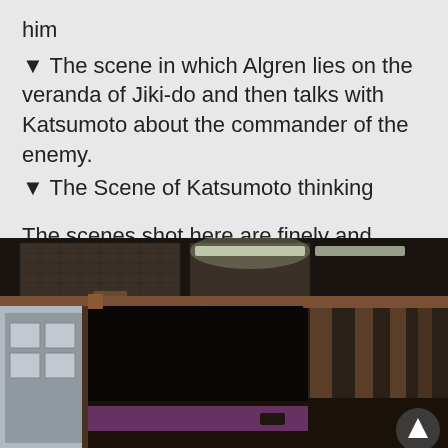him
▼ The scene in which Algren lies on the veranda of Jiki-do and then talks with Katsumoto about the commander of the enemy.
▼ The Scene of Katsumoto thinking
The scenes shot here are finely and effectively incorporated into the movie.
[Figure (photo): Interior of a Japanese wooden hall (Jiki-do temple) with wooden columns, dark ceiling with metal grid panels, fluorescent lights, and a purple floor visible. View looking down the length of the hall toward the exit. A circular courtyard building is visible through the open side.]